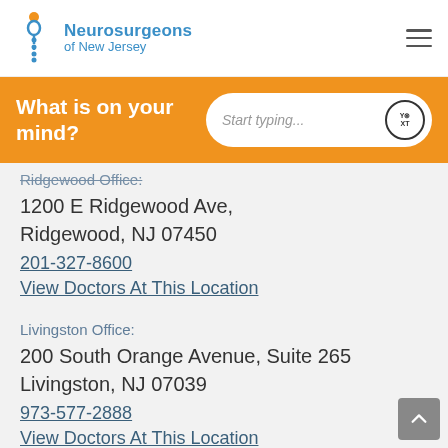Neurosurgeons of New Jersey
What is on your mind?
Ridgewood Office:
1200 E Ridgewood Ave,
Ridgewood, NJ 07450
201-327-8600
View Doctors At This Location
Livingston Office:
200 South Orange Avenue, Suite 265
Livingston, NJ 07039
973-577-2888
View Doctors At This Location